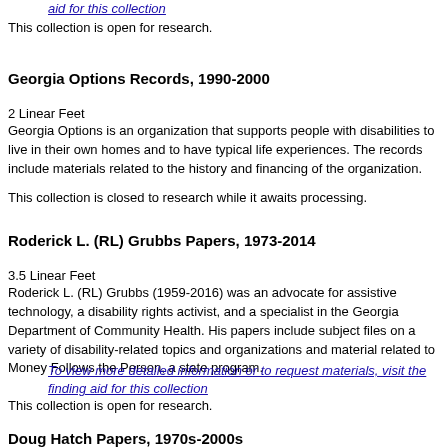To view more detailed information or to request materials, visit the finding aid for this collection
This collection is open for research.
Georgia Options Records, 1990-2000
2 Linear Feet
Georgia Options is an organization that supports people with disabilities to live in their own homes and to have typical life experiences. The records include materials related to the history and financing of the organization.
This collection is closed to research while it awaits processing.
Roderick L. (RL) Grubbs Papers, 1973-2014
3.5 Linear Feet
Roderick L. (RL) Grubbs (1959-2016) was an advocate for assistive technology, a disability rights activist, and a specialist in the Georgia Department of Community Health. His papers include subject files on a variety of disability-related topics and organizations and material related to Money Follows the Person, a state program.
To view more detailed information or to request materials, visit the finding aid for this collection
This collection is open for research.
Doug Hatch Papers, 1970s-2000s